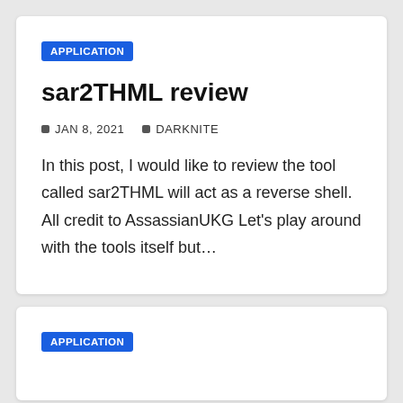APPLICATION
sar2THML review
JAN 8, 2021   DARKNITE
In this post, I would like to review the tool called sar2THML will act as a reverse shell. All credit to AssassianUKG Let's play around with the tools itself but…
APPLICATION